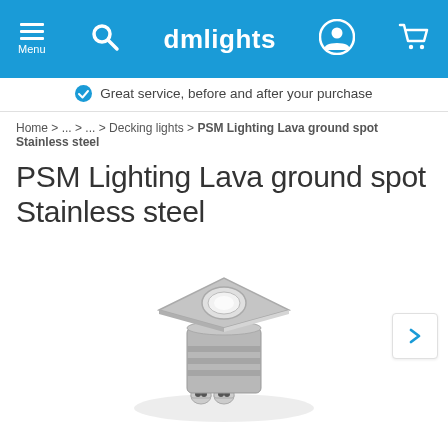dmlights navigation bar with Menu, Search, Logo, User, Cart icons
Great service, before and after your purchase
Home > ... > ... > Decking lights > PSM Lighting Lava ground spot Stainless steel
PSM Lighting Lava ground spot Stainless steel
[Figure (photo): PSM Lighting Lava ground spot Stainless steel product photo - a square stainless steel flush-mount ground spotlight with cylindrical body and cable connectors at base]